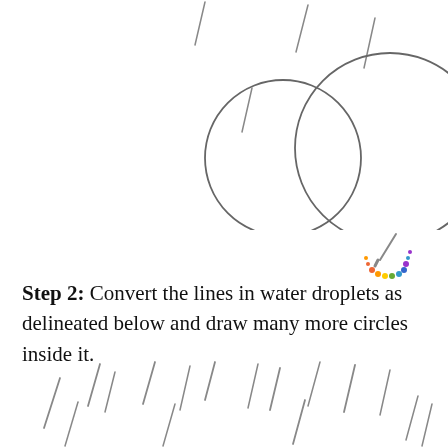[Figure (illustration): Two overlapping circles (Venn diagram style) with diagonal lines (rain streaks) in the upper area, on white background]
[Figure (illustration): Small color palette icon with paintbrush, colorful dots arranged in arc]
Step 2: Convert the lines in water droplets as delineated below and draw many more circles inside it.
[Figure (illustration): Multiple diagonal lines representing rain streaks in the lower portion of the page]